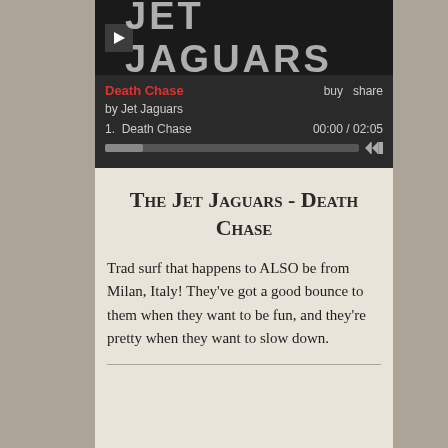[Figure (screenshot): Music player embed showing 'Death Chase' by Jet Jaguars with play button, track listing, progress bar, and buy/share links]
The Jet Jaguars - Death Chase
Trad surf that happens to ALSO be from Milan, Italy! They've got a good bounce to them when they want to be fun, and they're pretty when they want to slow down.